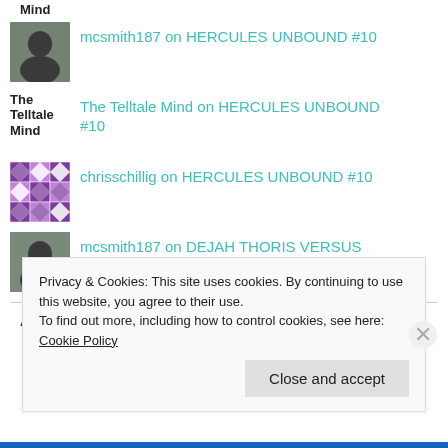The Telltale Mind (partial, top)
mcsmith187 on HERCULES UNBOUND #10
The Telltale Mind on HERCULES UNBOUND #10
chrisschillig on HERCULES UNBOUND #10
mcsmith187 on DEJAH THORIS VERSUS JOHN CARTE...
ARCHIVES
Privacy & Cookies: This site uses cookies. By continuing to use this website, you agree to their use.
To find out more, including how to control cookies, see here: Cookie Policy
Close and accept